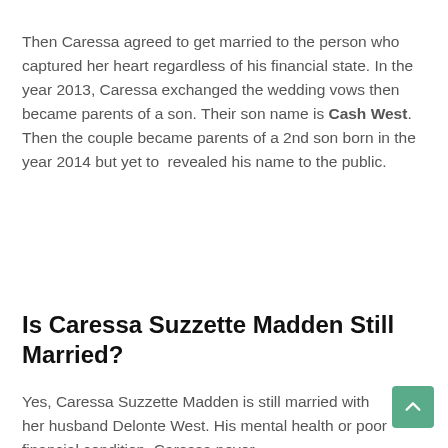Then Caressa agreed to get married to the person who captured her heart regardless of his financial state. In the year 2013, Caressa exchanged the wedding vows then became parents of a son. Their son name is Cash West. Then the couple became parents of a 2nd son born in the year 2014 but yet to  revealed his name to the public.
Is Caressa Suzzette Madden Still Married?
Yes, Caressa Suzzette Madden is still married with her husband Delonte West. His mental health or poor financial condition, Caressa never...